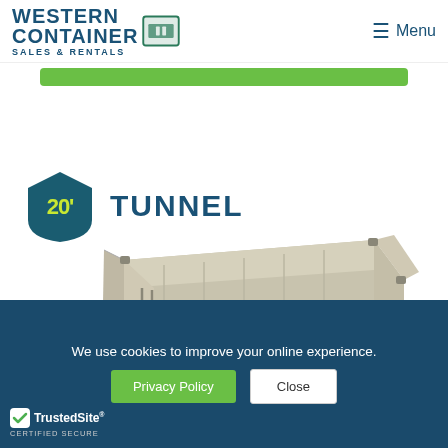Western Container Sales & Rentals — Menu
[Figure (screenshot): Green button/bar below navigation header]
[Figure (illustration): 20 foot tunnel container product badge with pentagon shield showing '20' in yellow on dark teal background, and 'TUNNEL' text in dark teal]
[Figure (photo): 3D rendered image of a 20-foot tunnel shipping container (beige/grey) with doors open on both ends]
We use cookies to improve your online experience.
Privacy Policy
Close
TrustedSite® CERTIFIED SECURE